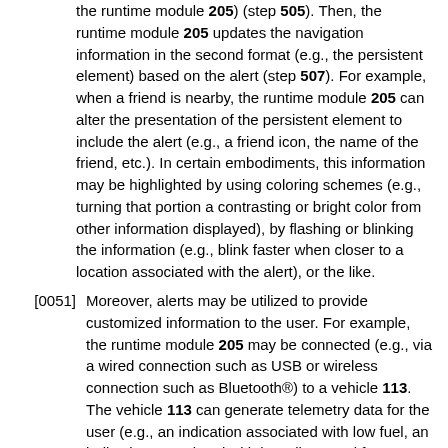the runtime module 205) (step 505). Then, the runtime module 205 updates the navigation information in the second format (e.g., the persistent element) based on the alert (step 507). For example, when a friend is nearby, the runtime module 205 can alter the presentation of the persistent element to include the alert (e.g., a friend icon, the name of the friend, etc.). In certain embodiments, this information may be highlighted by using coloring schemes (e.g., turning that portion a contrasting or bright color from other information displayed), by flashing or blinking the information (e.g., blink faster when closer to a location associated with the alert), or the like.
[0051] Moreover, alerts may be utilized to provide customized information to the user. For example, the runtime module 205 may be connected (e.g., via a wired connection such as USB or wireless connection such as Bluetooth®) to a vehicle 113. The vehicle 113 can generate telemetry data for the user (e.g., an indication associated with low fuel, an indication associated with low oil or need for maintenance, etc.). The telemetry data can be